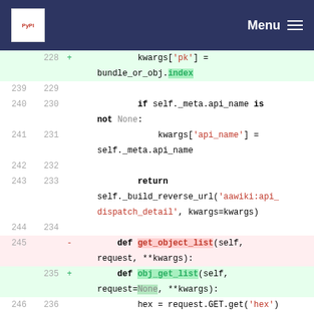Menu
[Figure (screenshot): Code diff view showing Python source code lines 228-247/237, with green added lines and red removed lines, displaying Django/Tastypie API resource methods including get_object_list renamed to obj_get_list]